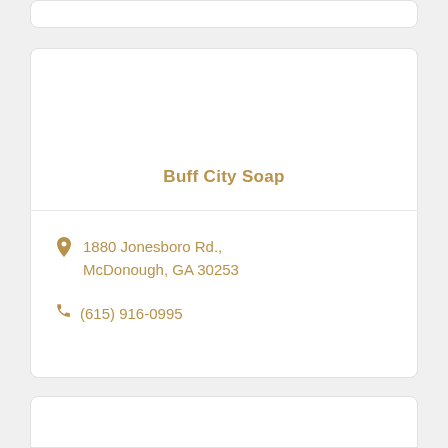Buff City Soap
1880 Jonesboro Rd., McDonough, GA 30253
(615) 916-0995